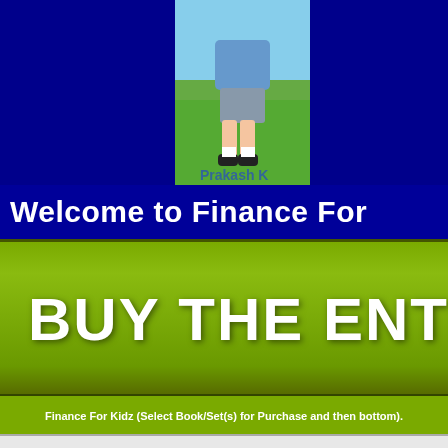[Figure (illustration): Illustration of a child character (Prakash) standing on green grass, wearing blue shorts and white shoes, cropped to show lower body and legs. Background is dark blue.]
Welcome to Finance For
[Figure (other): Green button/banner reading 'BUY THE ENTIRE']
Finance For Kidz (Select Book/Set(s) for Purchase and then bottom).
Boxed Set # 1: Volu